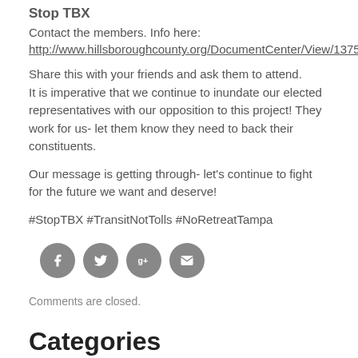Stop TBX
Contact the members. Info here:
http://www.hillsboroughcounty.org/DocumentCenter/View/13753
Share this with your friends and ask them to attend. It is imperative that we continue to inundate our elected representatives with our opposition to this project! They work for us- let them know they need to back their constituents.
Our message is getting through- let's continue to fight for the future we want and deserve!
#StopTBX #TransitNotTolls #NoRetreatTampa
[Figure (infographic): Four social media share icons in grey circles: Facebook (f), Twitter (bird), Google+ (g+), Email (envelope)]
Comments are closed.
Categories